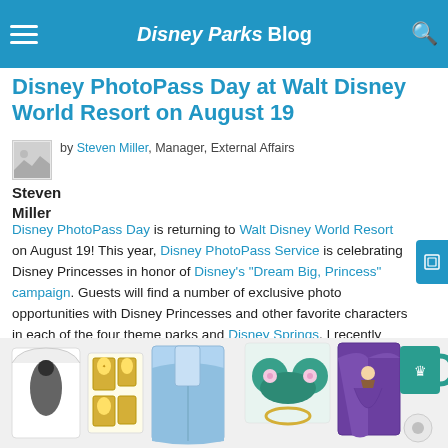Disney PhotoPass Day at Walt Disney World Resort – Disney Parks Blog – August 19
Disney PhotoPass Day at Walt Disney World Resort on August 19
by Steven Miller, Manager, External Affairs
Steven Miller
Disney PhotoPass Day is returning to Walt Disney World Resort on August 19! This year, Disney PhotoPass Service is celebrating Disney Princesses in honor of Disney's "Dream Big, Princess" campaign. Guests will find a number of exclusive photo opportunities with Disney Princesses and other favorite characters in each of the four theme parks and Disney Springs. I recently spoke with Denise Shick, Merchandise Franchise & Brand Manager with Disney Parks Merchandise, about some of the Disney Princess-themed products guests will find for this picture perfect day.
[Figure (photo): Strip of Disney Princess-themed merchandise products including apparel, pins, accessories, ears headband, mug, and jewelry items]